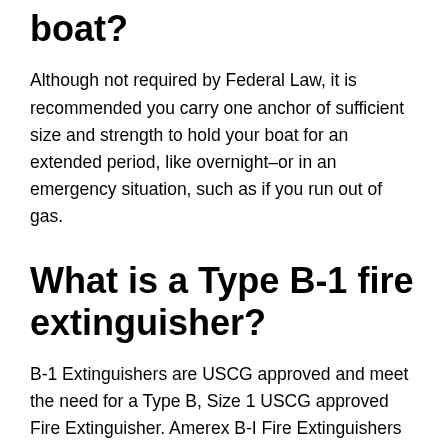boat?
Although not required by Federal Law, it is recommended you carry one anchor of sufficient size and strength to hold your boat for an extended period, like overnight–or in an emergency situation, such as if you run out of gas.
What is a Type B-1 fire extinguisher?
B-1 Extinguishers are USCG approved and meet the need for a Type B, Size 1 USCG approved Fire Extinguisher. Amerex B-I Fire Extinguishers must be: Dry Chemical, ABC, or Purple K: 2 lbs or larger. Carbon Dioxide (Co2): 5 lbs or larger. Halon: 2.5 lbs or larger.